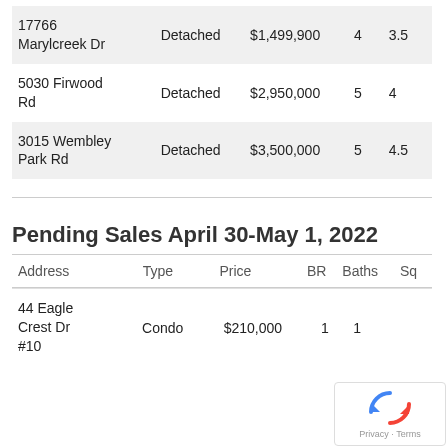| Address | Type | Price | BR | Baths |
| --- | --- | --- | --- | --- |
| 17766 Marylcreek Dr | Detached | $1,499,900 | 4 | 3.5 |
| 5030 Firwood Rd | Detached | $2,950,000 | 5 | 4 |
| 3015 Wembley Park Rd | Detached | $3,500,000 | 5 | 4.5 |
Pending Sales April 30-May 1, 2022
| Address | Type | Price | BR | Baths | Sq |
| --- | --- | --- | --- | --- | --- |
| 44 Eagle Crest Dr #10 | Condo | $210,000 | 1 | 1 |  |